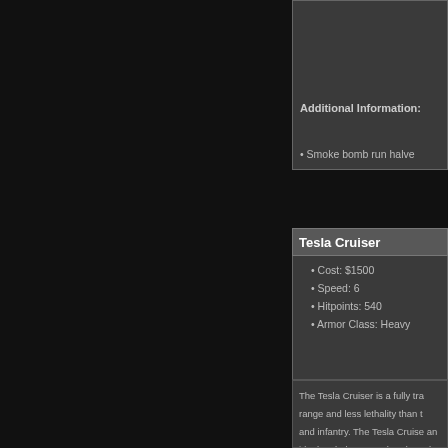Additional Information:
Automatically repairs it
Smoke bomb run halve
Tesla Cruiser
Cost: $1500
Speed: 6
Hitpoints: 540
Armor Class: Heavy
The Tesla Cruiser is a fully tra range and less lethality than t and infantry. The Tesla Cruise an ideal tank destroyer, but de tank's maximum potential is r